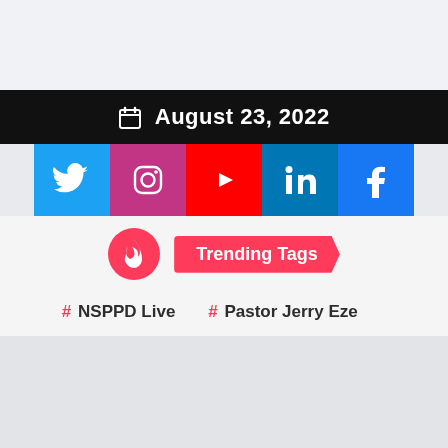August 23, 2022
[Figure (infographic): Social media icons bar: Twitter (blue), Instagram (pink/purple), YouTube (red), LinkedIn (blue), Facebook (blue)]
Trending Tags
# NSPPD Live   # Pastor Jerry Eze   # Music Video
# Prayer With Pastor Elvis Agyemang
# Pastor Elvis Agyemang   # Audio Music
# Prayer With Pastor Jerry Eze
# Morning Prayer With Pastor Jerry Eze